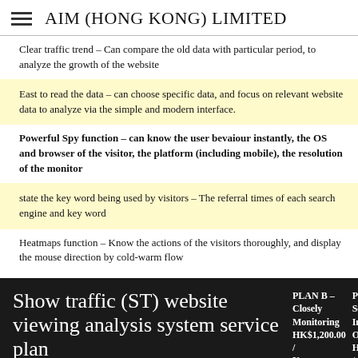AIM (HONG KONG) LIMITED
Clear traffic trend – Can compare the old data with particular period, to analyze the growth of the website
East to read the data – can choose specific data, and focus on relevant website data to analyze via the simple and modern interface.
Powerful Spy function – can know the user bevaiour instantly, the OS and browser of the visitor, the platform (including mobile), the resolution of the monitor
state the key word being used by visitors – The referral times of each search engine and key word
Heatmaps function – Know the actions of the visitors thoroughly, and display the mouse direction by cold-warm flow
Show traffic (ST) website viewing analysis system service plan | PLAN B – Closely Monitoring HK$1,200.00 / Year | PLAN C – Senior Intelligence Officer HK$3,000.00 / Year